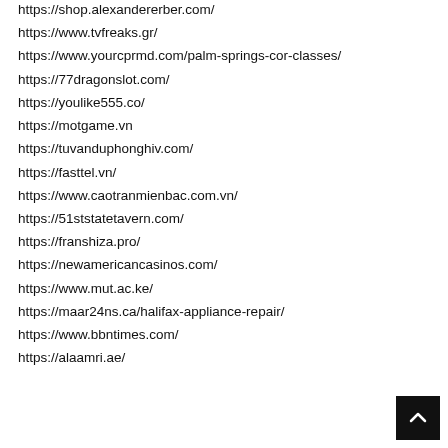https://shop.alexandererber.com/
https://www.tvfreaks.gr/
https://www.yourcprmd.com/palm-springs-cor-classes/
https://77dragonslot.com/
https://youlike555.co/
https://motgame.vn
https://tuvanduphonghiv.com/
https://fasttel.vn/
https://www.caotranmienbac.com.vn/
https://51ststatetavern.com/
https://franshiza.pro/
https://newamericancasinos.com/
https://www.mut.ac.ke/
https://maar24ns.ca/halifax-appliance-repair/
https://www.bbntimes.com/
https://alaamri.ae/
https://...